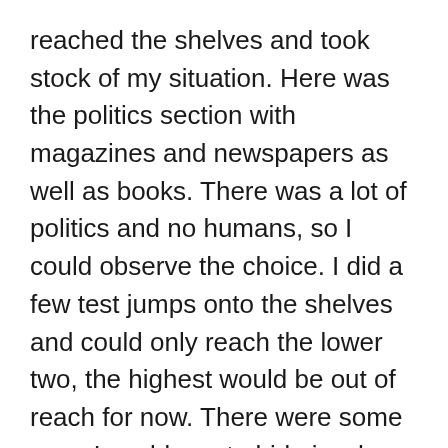reached the shelves and took stock of my situation. Here was the politics section with magazines and newspapers as well as books. There was a lot of politics and no humans, so I could observe the choice. I did a few test jumps onto the shelves and could only reach the lower two, the highest would be out of reach for now. There were some gaps I could use to hide in when someone came along to browse and occasionally there was a short cut for a cat to the other side of the shelf. Politics and Political History were duly noted in my mind. And now I wanted to go downstairs to the first floor.
A member of staff was coming my way pushing a trolley with two shelves, an upper and a lower. He